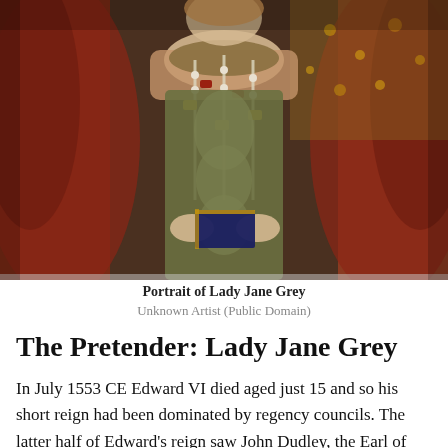[Figure (illustration): Portrait painting of Lady Jane Grey, a Renaissance-era figure in ornate jeweled dress holding a book, with rich brown and gold tones]
Portrait of Lady Jane Grey
Unknown Artist (Public Domain)
The Pretender: Lady Jane Grey
In July 1553 CE Edward VI died aged just 15 and so his short reign had been dominated by regency councils. The latter half of Edward's reign saw John Dudley, the Earl of Northumberland (l. 1504-1553 CE) run the government and, with Edward's approval, the English Reformation and abandonment of all things Catholic continued